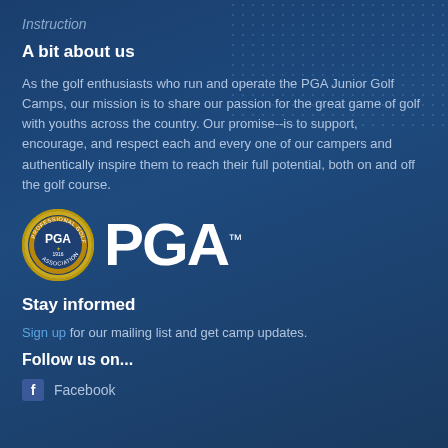Instruction
A bit about us
As the golf enthusiasts who run and operate the PGA Junior Golf Camps, our mission is to share our passion for the great game of golf with youths across the country. Our promise--is to support, encourage, and respect each and every one of our campers and authentically inspire them to reach their full potential, both on and off the golf course.
[Figure (logo): PGA Professional Golfers Association of America circular emblem badge alongside large PGA wordmark with trademark symbol]
Stay informed
Sign up for our mailing list and get camp updates.
Follow us on...
Facebook